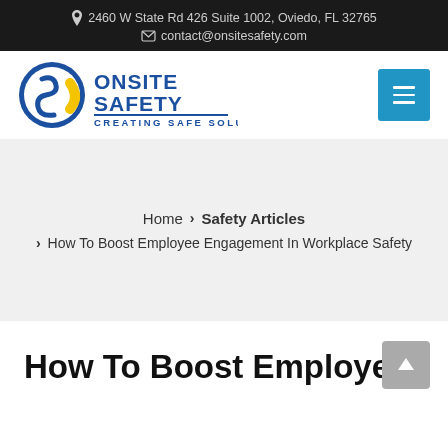2460 W State Rd 426 Suite 1002, Oviedo, FL 32765 | contact@onsitesafety.com
[Figure (logo): Onsite Safety logo with circular S icon in blue and yellow, text reads ONSITE SAFETY CREATING SAFE SOLUTIONS]
Home > Safety Articles > How To Boost Employee Engagement In Workplace Safety
How To Boost Employee